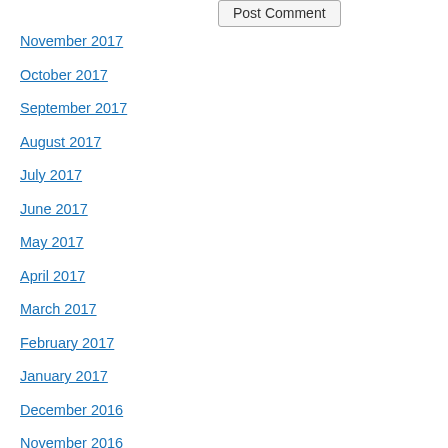November 2017
October 2017
September 2017
August 2017
July 2017
June 2017
May 2017
April 2017
March 2017
February 2017
January 2017
December 2016
November 2016
October 2016
September 2016
August 2016
[Figure (screenshot): Post Comment button]